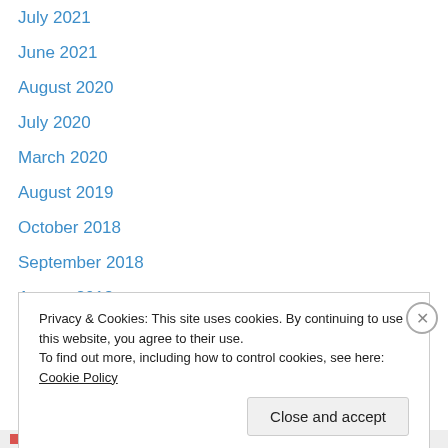July 2021
June 2021
August 2020
July 2020
March 2020
August 2019
October 2018
September 2018
August 2018
July 2018
June 2018
May 2018
April 2018
March 2018
Privacy & Cookies: This site uses cookies. By continuing to use this website, you agree to their use.
To find out more, including how to control cookies, see here: Cookie Policy
Close and accept